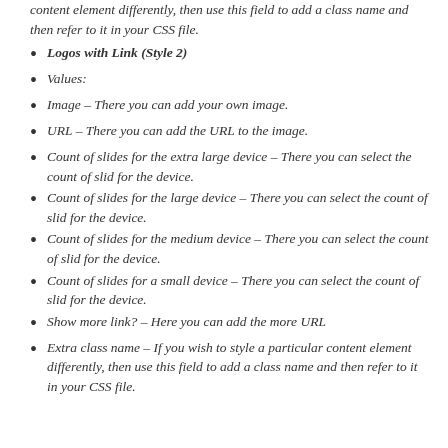content element differently, then use this field to add a class name and then refer to it in your CSS file.
Logos with Link (Style 2)
Values:
Image – There you can add your own image.
URL – There you can add the URL to the image.
Count of slides for the extra large device – There you can select the count of slid for the device.
Count of slides for the large device – There you can select the count of slid for the device.
Count of slides for the medium device – There you can select the count of slid for the device.
Count of slides for a small device – There you can select the count of slid for the device.
Show more link? – Here you can add the more URL
Extra class name – If you wish to style a particular content element differently, then use this field to add a class name and then refer to it in your CSS file.